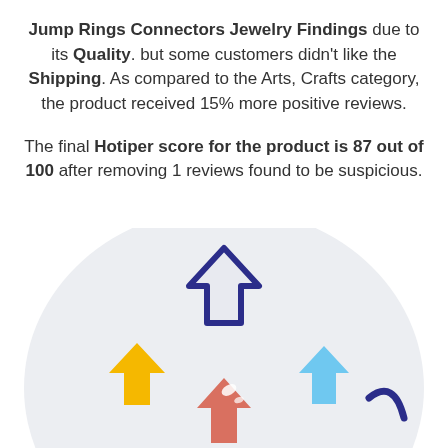Jump Rings Connectors Jewelry Findings due to its Quality. but some customers didn't like the Shipping. As compared to the Arts, Crafts category, the product received 15% more positive reviews.
The final Hotiper score for the product is 87 out of 100 after removing 1 reviews found to be suspicious.
[Figure (illustration): Circular light gray background with multiple downward-pointing arrows of different colors: a large dark navy blue outlined arrow at top center, a yellow filled arrow at left, a light blue filled arrow at right, a salmon/red-orange filled arrow at bottom center, and a dark navy curved arrow element at bottom right. Small white highlight marks near center.]